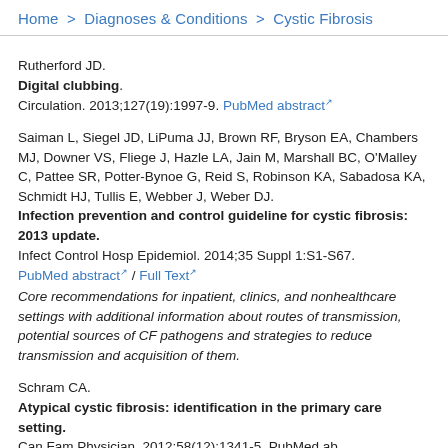Home > Diagnoses & Conditions > Cystic Fibrosis
Rutherford JD.
Digital clubbing.
Circulation. 2013;127(19):1997-9. PubMed abstract
Saiman L, Siegel JD, LiPuma JJ, Brown RF, Bryson EA, Chambers MJ, Downer VS, Fliege J, Hazle LA, Jain M, Marshall BC, O'Malley C, Pattee SR, Potter-Bynoe G, Reid S, Robinson KA, Sabadosa KA, Schmidt HJ, Tullis E, Webber J, Weber DJ.
Infection prevention and control guideline for cystic fibrosis: 2013 update.
Infect Control Hosp Epidemiol. 2014;35 Suppl 1:S1-S67.
PubMed abstract / Full Text
Core recommendations for inpatient, clinics, and nonhealthcare settings with additional information about routes of transmission, potential sources of CF pathogens and strategies to reduce transmission and acquisition of them.
Schram CA.
Atypical cystic fibrosis: identification in the primary care setting.
Can Fam Physician. 2012;58(12):1341-5. PubMed...